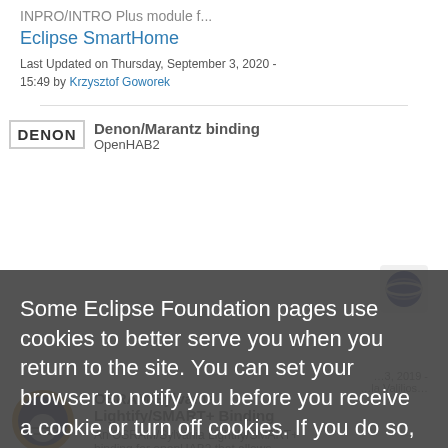INPRO/INTRO Plus module f...
Eclipse SmartHome
Last Updated on Thursday, September 3, 2020 - 15:49 by Krzysztof Goworek
Denon/Marantz binding
DENON
OpenHAB2
Some Eclipse Foundation pages use cookies to better serve you when you return to the site. You can set your browser to notify you before you receive a cookie or turn off cookies. If you do so, however, some areas of some sites may not function properly. To read Eclipse Foundation Privacy Policy click here.
OSRAM/Sylvania Lightify/SMART+ Binding
An OSRAM/Sylvania Lightify/SMART+ binding for openHAB2 that allows Lightify/SMART+ devices to be used